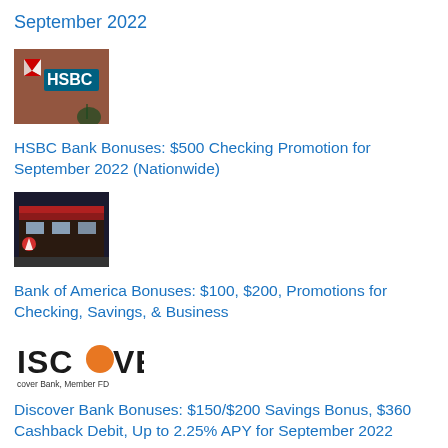September 2022
[Figure (photo): HSBC bank logo sign with lit letters against dark background]
HSBC Bank Bonuses: $500 Checking Promotion for September 2022 (Nationwide)
[Figure (photo): Bank of America branch exterior at night with red and blue signage]
Bank of America Bonuses: $100, $200, Promotions for Checking, Savings, & Business
[Figure (logo): DISCOVER logo with orange circle replacing the O, and text 'Discover Bank, Member FD' below]
Discover Bank Bonuses: $150/$200 Savings Bonus, $360 Cashback Debit, Up to 2.25% APY for September 2022